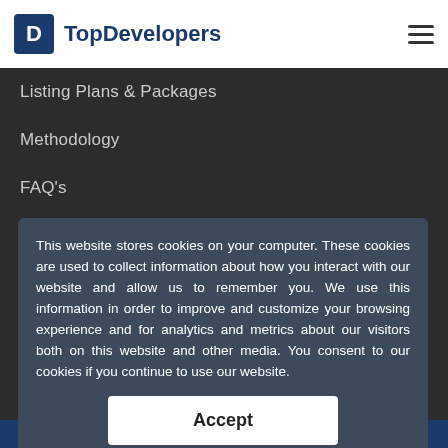TopDevelopers
Listing Plans & Packages
Methodology
FAQ's
Terms and conditions
Privacy Policy
This website stores cookies on your computer. These cookies are used to collect information about how you interact with our website and allow us to remember you. We use this information in order to improve and customize your browsing experience and for analytics and metrics about our visitors both on this website and other media. You consent to our cookies if you continue to use our website.
Accept
Key Insights